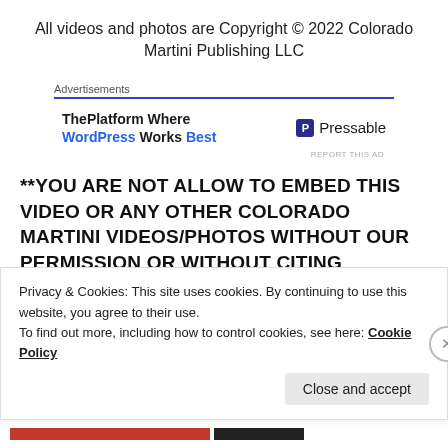All videos and photos are Copyright © 2022 Colorado Martini Publishing LLC
[Figure (infographic): Advertisement banner for Pressable WordPress hosting. Shows 'Advertisements' label with blue underline, text 'ThePlatform Where WordPress Works Best' in bold with WordPress and Best in blue, and Pressable logo on the right.]
**YOU ARE NOT ALLOW TO EMBED THIS VIDEO OR ANY OTHER COLORADO MARTINI VIDEOS/PHOTOS WITHOUT OUR PERMISSION OR WITHOUT CITING COLORADO MARTINI; WHICH INCLUDES A DIRECT LINK TO OUR CHANNELS WITH OUR CHANNEL NAME. YOU
Privacy & Cookies: This site uses cookies. By continuing to use this website, you agree to their use.
To find out more, including how to control cookies, see here: Cookie Policy
Close and accept